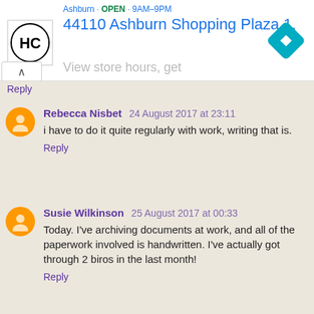[Figure (screenshot): Ad banner showing HC logo, address '44110 Ashburn Shopping Plaza 1.' in blue, directions icon, close button, and 'View store hours, get' text in gray]
Reply
Rebecca Nisbet 24 August 2017 at 23:11
i have to do it quite regularly with work, writing that is.
Reply
Susie Wilkinson 25 August 2017 at 00:33
Today. I've archiving documents at work, and all of the paperwork involved is handwritten. I've actually got through 2 biros in the last month!
Reply
Unknown 25 August 2017 at 02:49